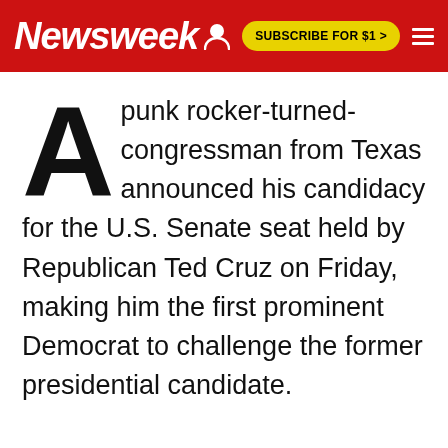Newsweek | SUBSCRIBE FOR $1 >
A punk rocker-turned-congressman from Texas announced his candidacy for the U.S. Senate seat held by Republican Ted Cruz on Friday, making him the first prominent Democrat to challenge the former presidential candidate.